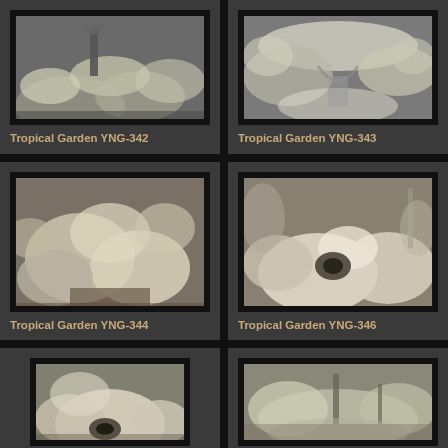[Figure (photo): Black and white infrared photograph of a tropical garden with lush foliage and a stone lantern]
Tropical Garden YNG-342
[Figure (photo): Black and white infrared photograph of a tropical garden path with overhanging plants]
Tropical Garden YNG-343
[Figure (photo): Black and white photograph of rounded shrubs and rocks in a tropical garden]
Tropical Garden YNG-344
[Figure (photo): Black and white photograph of rounded grass mounds with a circular stone element in a tropical garden]
Tropical Garden YNG-346
[Figure (photo): Black and white photograph of a tropical garden with rounded forms and a ceramic pot]
[Figure (photo): Black and white photograph of a tropical garden path with hanging elements and lush vegetation]